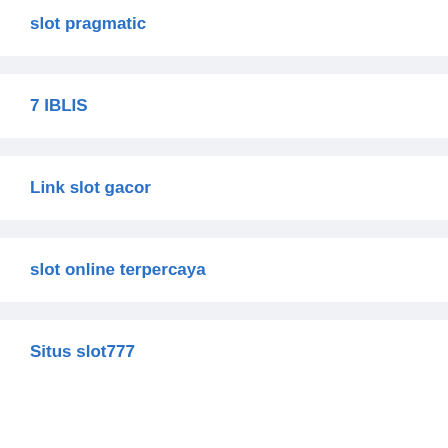slot pragmatic
7 IBLIS
Link slot gacor
slot online terpercaya
Situs slot777